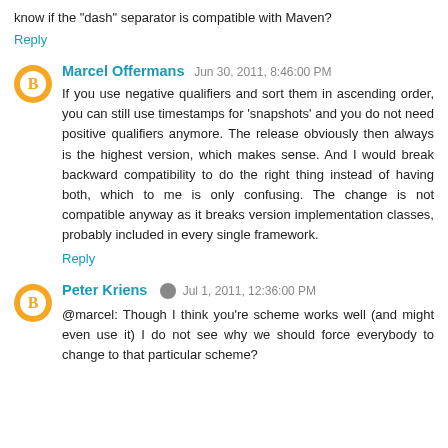know if the "dash" separator is compatible with Maven?
Reply
Marcel Offermans  Jun 30, 2011, 8:46:00 PM
If you use negative qualifiers and sort them in ascending order, you can still use timestamps for 'snapshots' and you do not need positive qualifiers anymore. The release obviously then always is the highest version, which makes sense. And I would break backward compatibility to do the right thing instead of having both, which to me is only confusing. The change is not compatible anyway as it breaks version implementation classes, probably included in every single framework.
Reply
Peter Kriens  Jul 1, 2011, 12:36:00 PM
@marcel: Though I think you're scheme works well (and might even use it) I do not see why we should force everybody to change to that particular scheme?